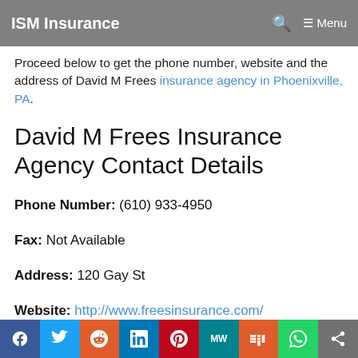ISM Insurance
Proceed below to get the phone number, website and the address of David M Frees insurance agency in Phoenixville, PA.
David M Frees Insurance Agency Contact Details
Phone Number: (610) 933-4950
Fax: Not Available
Address: 120 Gay St
Website: http://www.freesinsurance.com/